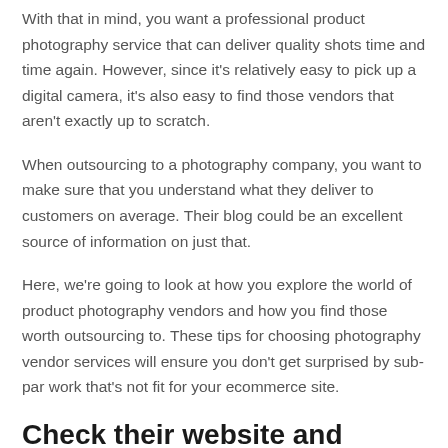With that in mind, you want a professional product photography service that can deliver quality shots time and time again. However, since it’s relatively easy to pick up a digital camera, it’s also easy to find those vendors that aren’t exactly up to scratch.
When outsourcing to a photography company, you want to make sure that you understand what they deliver to customers on average. Their blog could be an excellent source of information on just that.
Here, we’re going to look at how you explore the world of product photography vendors and how you find those worth outsourcing to. These tips for choosing photography vendor services will ensure you don’t get surprised by sub-par work that’s not fit for your ecommerce site.
Check their website and research on